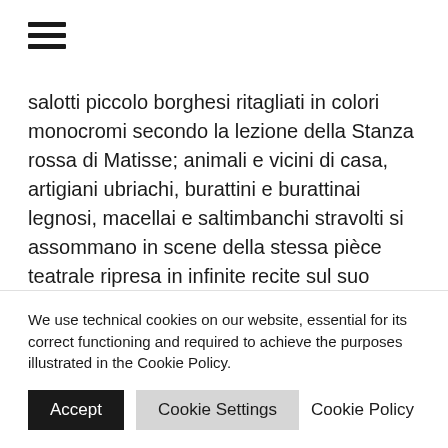[Figure (other): Hamburger menu icon with three horizontal lines]
salotti piccolo borghesi ritagliati in colori monocromi secondo la lezione della Stanza rossa di Matisse; animali e vicini di casa, artigiani ubriachi, burattini e burattinai legnosi, macellai e saltimbanchi stravolti si assommano in scene della stessa pièce teatrale ripresa in infinite recite sul suo palcoscenico. Appare quindi tutto il corpus delle opere come un lungo e ininterrotto racconto dovstojevskiano in cui i personaggi raffigurati appaiono e scompaiono da un
We use technical cookies on our website, essential for its correct functioning and required to achieve the purposes illustrated in the Cookie Policy.
Accept   Cookie Settings   Cookie Policy